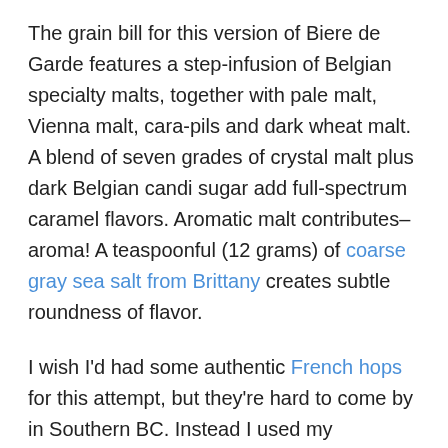The grain bill for this version of Biere de Garde features a step-infusion of Belgian specialty malts, together with pale malt, Vienna malt, cara-pils and dark wheat malt. A blend of seven grades of crystal malt plus dark Belgian candi sugar add full-spectrum caramel flavors. Aromatic malt contributes–aroma! A teaspoonful (12 grams) of coarse gray sea salt from Brittany creates subtle roundness of flavor.
I wish I'd had some authentic French hops for this attempt, but they're hard to come by in Southern BC. Instead I used my homegrown Fuggles and Willamette hops for bitterness, flavor and aroma. It turned out to be a good thing–lots of full-spectrum hop presence on the palate and nose.
Starting out at around 15.5 Plato (1,062) and finishing at